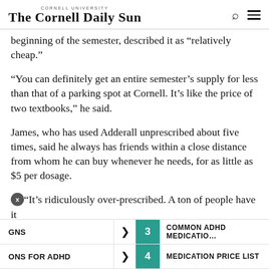The Cornell Daily Sun
beginning of the semester, described it as “relatively cheap.”
“You can definitely get an entire semester’s supply for less than that of a parking spot at Cornell. It’s like the price of two textbooks,” he said.
James, who has used Adderall unprescribed about five times, said he always has friends within a close distance from whom he can buy whenever he needs, for as little as $5 per dosage.
“It’s ridiculously over-prescribed. A ton of people have it
GNS > 3 COMMON ADHD MEDICATIONS | ONS FOR ADHD > 4 MEDICATION PRICE LIST